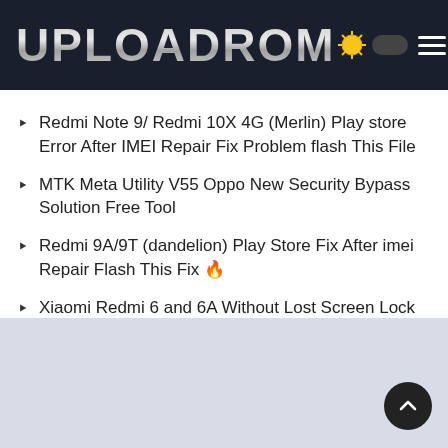UPLOADROM
Redmi Note 9/ Redmi 10X 4G (Merlin) Play store Error After IMEI Repair Fix Problem flash This File
MTK Meta Utility V55 Oppo New Security Bypass Solution Free Tool
Redmi 9A/9T (dandelion) Play Store Fix After imei Repair Flash This Fix 🔥
Xiaomi Redmi 6 and 6A Without Lost Screen Lock Fix 🔥
ROM2box V2.7 Pro Fastboot Update Free – Supported Qualcomm, OPPO, MediaTek